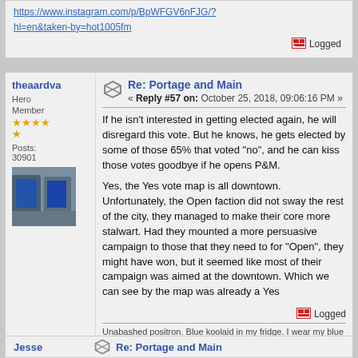https://www.instagram.com/p/BpWFGV6nFJG/?hl=en&taken-by=hot1005fm
Logged
theaardva
Hero Member
Posts: 30901
Re: Portage and Main
« Reply #57 on: October 25, 2018, 09:06:16 PM »
If he isn't interested in getting elected again, he will disregard this vote.  But he knows, he gets elected by some of those 65% that voted "no", and he can kiss those votes goodbye if he opens P&M.
Yes, the Yes vote map is all downtown.  Unfortunately, the Open faction did not sway the rest of the city, they managed to make their core more stalwart.  Had they mounted a more persuasive campaign to those that they need to for "Open", they might have won, but it seemed like most of their campaign was aimed at the downtown.  Which we can see by the map was already a Yes
Logged
Unabashed positron.  Blue koolaid in my fridge.  I wear my blue sunglasses at night.  Homer, d'oh.
Jesse
Re: Portage and Main